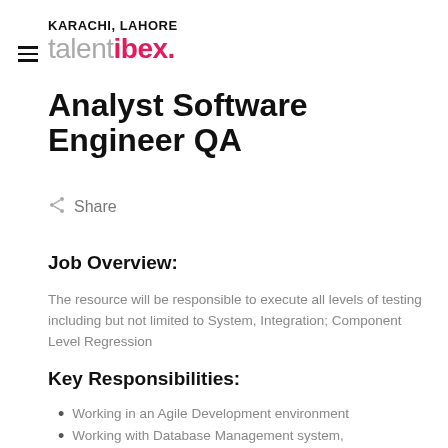KARACHI, LAHORE talent ibex.
Analyst Software Engineer QA
Share
Job Overview:
The resource will be responsible to execute all levels of testing including but not limited to System, Integration; Component Level Regression
Key Responsibilities:
Working in an Agile Development environment
Working with Database Management system,